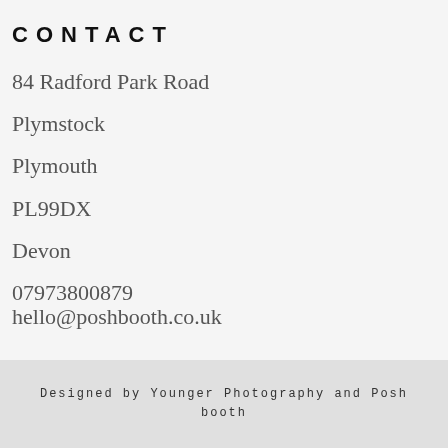CONTACT
84 Radford Park Road
Plymstock
Plymouth
PL99DX
Devon
07973800879
hello@poshbooth.co.uk
Designed by Younger Photography and Posh booth